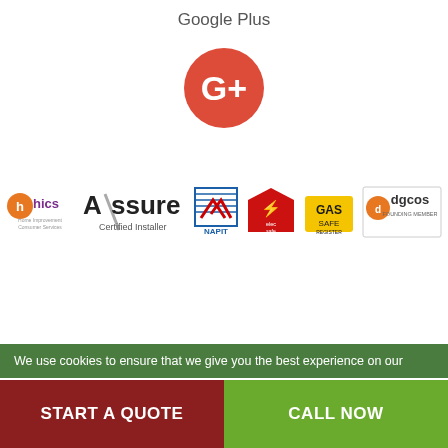Google Plus
[Figure (logo): Google Plus red circle logo with G+ symbol in white]
[Figure (logo): Row of certification logos: hics, Assure Certified Installer, NAPIT, electric safe, gas safe register, dgcos founding member]
We use cookies to ensure that we give you the best experience on our
START A QUOTE
CALL NOW